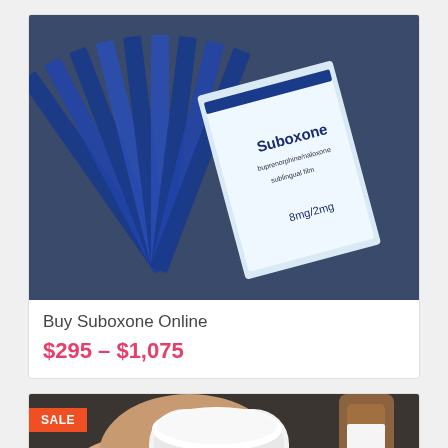[Figure (photo): Photo of multiple blue and white Suboxone sublingual film strips fanned out, with packaging visible showing 'Suboxone' branding and '8mg/2mg' dosage, placed on a blue textile background.]
Buy Suboxone Online
$295 – $1,075
[Figure (photo): Photo of a hand holding a small white cylindrical pill container, partially visible, with a SALE badge in the upper left corner.]